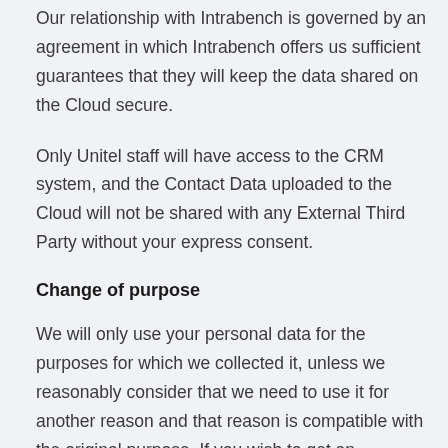Our relationship with Intrabench is governed by an agreement in which Intrabench offers us sufficient guarantees that they will keep the data shared on the Cloud secure.
Only Unitel staff will have access to the CRM system, and the Contact Data uploaded to the Cloud will not be shared with any External Third Party without your express consent.
Change of purpose
We will only use your personal data for the purposes for which we collected it, unless we reasonably consider that we need to use it for another reason and that reason is compatible with the original purpose. If you wish to get an explanation as to how the processing for the new purpose is compatible with the original purpose,